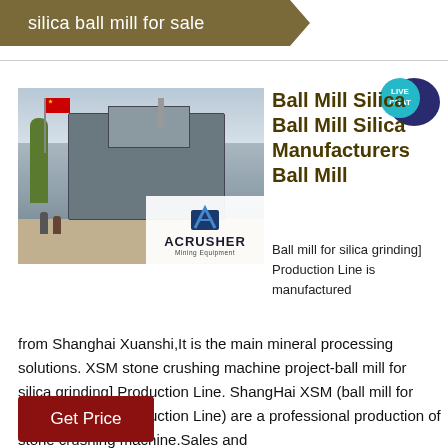silica ball mill for sale
[Figure (photo): Mining equipment / ball mill machinery at an outdoor site with a Chinese flag and tree visible; ACRUSHER Mining Equipment logo overlay]
Ball Mill Silica Ball Mill Silica Manufacturers Ball Mill
Ball mill for silica grinding] Production Line is manufactured from Shanghai Xuanshi,It is the main mineral processing solutions. XSM stone crushing machine project-ball mill for silica grinding] Production Line. ShangHai XSM (ball mill for silica grinding] Production Line) are a professional production of stone crushing machine.Sales and
Get Price